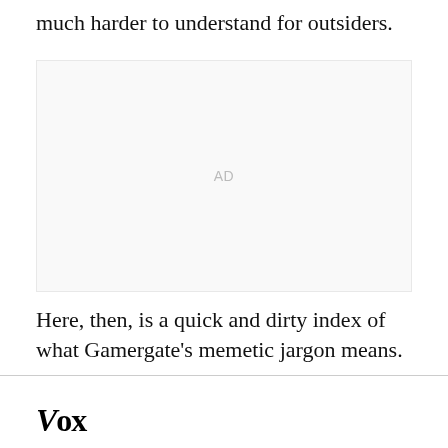much harder to understand for outsiders.
[Figure (other): Advertisement placeholder box with 'AD' label in gray]
Here, then, is a quick and dirty index of what Gamergate's memetic jargon means.
Vox